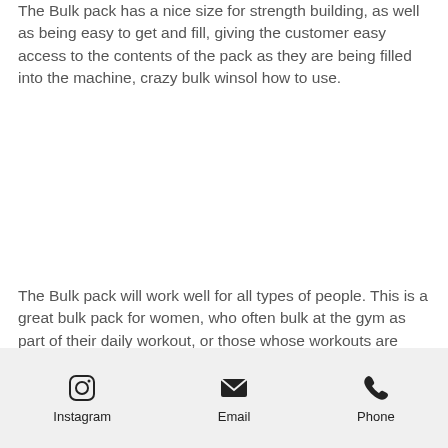The Bulk pack has a nice size for strength building, as well as being easy to get and fill, giving the customer easy access to the contents of the pack as they are being filled into the machine, crazy bulk winsol how to use.
The Bulk pack will work well for all types of people. This is a great bulk pack for women, who often bulk at the gym as part of their daily workout, or those whose workouts are very strength focused.
When it comes to bulking, many bulks require the assistance of protein, as that is what is needed for a huge muscular building workout.
Instagram  Email  Phone